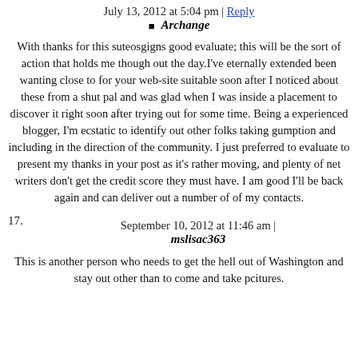July 13, 2012 at 5:04 pm | Reply
Archange
With thanks for this suteosgigns good evaluate; this will be the sort of action that holds me though out the day.I've eternally extended been wanting close to for your web-site suitable soon after I noticed about these from a shut pal and was glad when I was inside a placement to discover it right soon after trying out for some time. Being a experienced blogger, I'm ecstatic to identify out other folks taking gumption and including in the direction of the community. I just preferred to evaluate to present my thanks in your post as it's rather moving, and plenty of net writers don't get the credit score they must have. I am good I'll be back again and can deliver out a number of of my contacts.
September 10, 2012 at 11:46 am |
mslisac363
This is another person who needs to get the hell out of Washington and stay out other than to come and take pcitures.